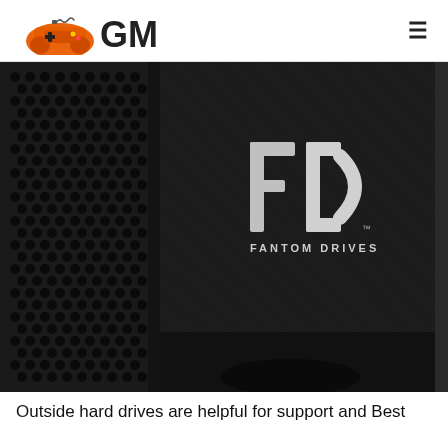GM [logo with game controller icon]
[Figure (photo): Close-up photo of a Fantom Drives external hard drive, dark/black finish with hexagonal ventilation pattern on the left side and the Fantom Drives FD logo on the right side, standing vertically on a stand]
Outside hard drives are helpful for support and Best